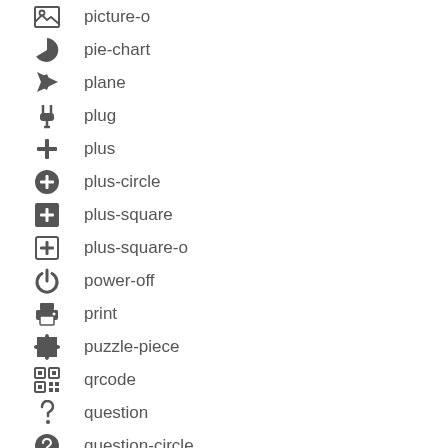picture-o
pie-chart
plane
plug
plus
plus-circle
plus-square
plus-square-o
power-off
print
puzzle-piece
qrcode
question
question-circle